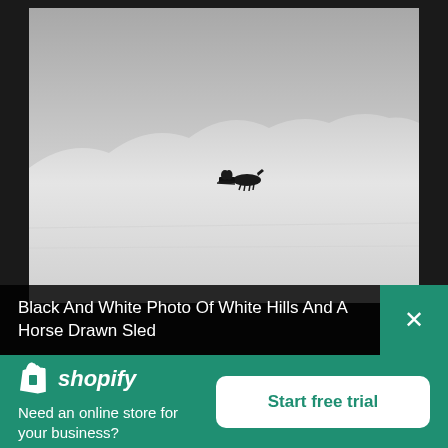[Figure (photo): Black and white photograph of a snowy winter landscape with white hills/mountains in the background and a horse-drawn sled with riders in the middle distance on a vast snow plain.]
Black And White Photo Of White Hills And A Horse Drawn Sled
shopify — Need an online store for your business? Start free trial